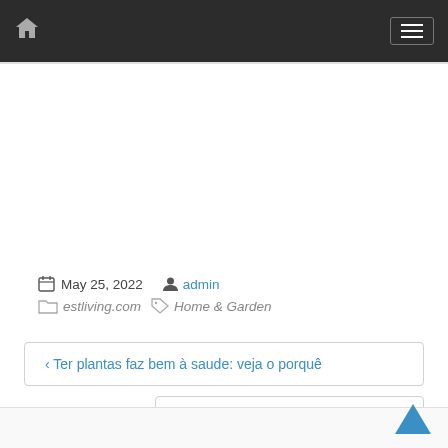Navigation bar with home icon and menu button
May 25, 2022  admin  estliving.com  Home & Garden
< Ter plantas faz bem à saude: veja o porquê
Nine to Know | Floor-Mounted Taps >
Back to top arrow